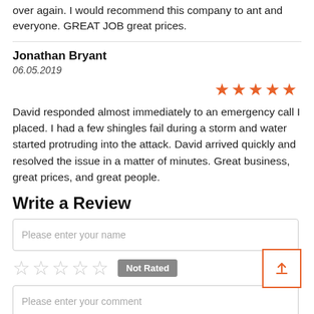over again. I would recommend this company to ant and everyone. GREAT JOB great prices.
Jonathan Bryant
06.05.2019
[Figure (other): 5 filled orange/red stars rating]
David responded almost immediately to an emergency call I placed. I had a few shingles fail during a storm and water started protruding into the attack. David arrived quickly and resolved the issue in a matter of minutes. Great business, great prices, and great people.
Write a Review
Please enter your name
[Figure (other): 5 empty star rating icons followed by Not Rated badge and upload button]
Please enter your comment